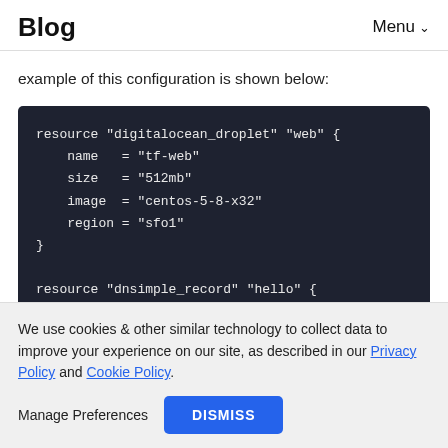Blog   Menu ˅
example of this configuration is shown below:
[Figure (screenshot): Dark-themed code block showing Terraform/HCL configuration with two resource blocks: digitalocean_droplet 'web' with name=tf-web, size=512mb, image=centos-5-8-x32, region=sfo1 and dnsimple_record 'hello' (partial)]
We use cookies & other similar technology to collect data to improve your experience on our site, as described in our Privacy Policy and Cookie Policy.
Manage Preferences   DISMISS